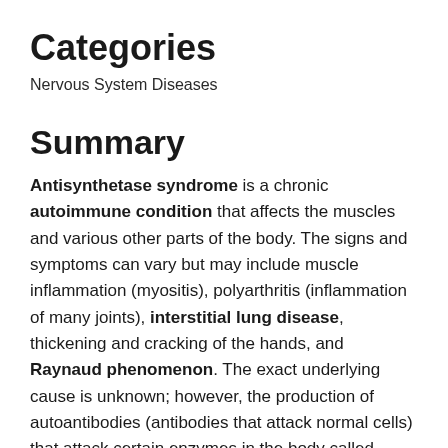Categories
Nervous System Diseases
Summary
Antisynthetase syndrome is a chronic autoimmune condition that affects the muscles and various other parts of the body. The signs and symptoms can vary but may include muscle inflammation (myositis), polyarthritis (inflammation of many joints), interstitial lung disease, thickening and cracking of the hands, and Raynaud phenomenon. The exact underlying cause is unknown; however, the production of autoantibodies (antibodies that attack normal cells) that attack certain enzymes in the body called 'aminoacyltRNA synthetases' appears to be linked to the cause of the syndrome. These